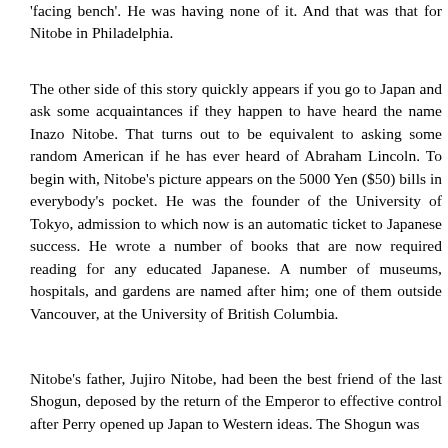'facing bench'. He was having none of it. And that was that for Nitobe in Philadelphia.
The other side of this story quickly appears if you go to Japan and ask some acquaintances if they happen to have heard the name Inazo Nitobe. That turns out to be equivalent to asking some random American if he has ever heard of Abraham Lincoln. To begin with, Nitobe's picture appears on the 5000 Yen ($50) bills in everybody's pocket. He was the founder of the University of Tokyo, admission to which now is an automatic ticket to Japanese success. He wrote a number of books that are now required reading for any educated Japanese. A number of museums, hospitals, and gardens are named after him; one of them outside Vancouver, at the University of British Columbia.
Nitobe's father, Jujiro Nitobe, had been the best friend of the last Shogun, deposed by the return of the Emperor to effective control after Perry opened up Japan to Western ideas. The Shogun was